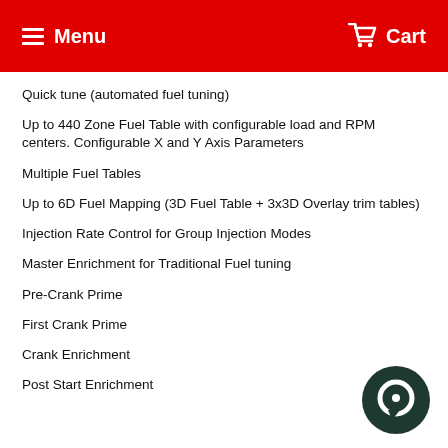Menu  Cart
Quick tune (automated fuel tuning)
Up to 440 Zone Fuel Table with configurable load and RPM centers. Configurable X and Y Axis Parameters
Multiple Fuel Tables
Up to 6D Fuel Mapping (3D Fuel Table + 3x3D Overlay trim tables)
Injection Rate Control for Group Injection Modes
Master Enrichment for Traditional Fuel tuning
Pre-Crank Prime
First Crank Prime
Crank Enrichment
Post Start Enrichment
[Figure (illustration): Chat bubble / support icon, dark green circle with white speech bubble shape]